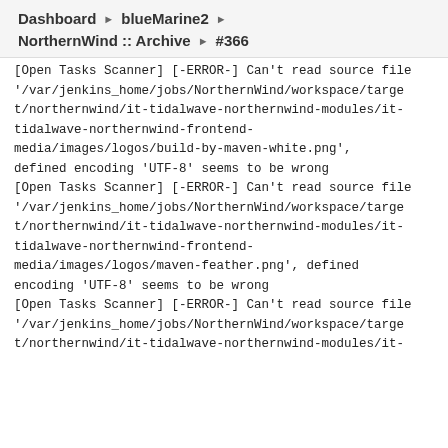Dashboard ▶ blueMarine2 ▶ NorthernWind :: Archive ▶ #366
[Open Tasks Scanner] [-ERROR-] Can't read source file '/var/jenkins_home/jobs/NorthernWind/workspace/target/northernwind/it-tidalwave-northernwind-modules/it-tidalwave-northernwind-frontend-media/images/logos/build-by-maven-white.png', defined encoding 'UTF-8' seems to be wrong
[Open Tasks Scanner] [-ERROR-] Can't read source file '/var/jenkins_home/jobs/NorthernWind/workspace/target/northernwind/it-tidalwave-northernwind-modules/it-tidalwave-northernwind-frontend-media/images/logos/maven-feather.png', defined encoding 'UTF-8' seems to be wrong
[Open Tasks Scanner] [-ERROR-] Can't read source file '/var/jenkins_home/jobs/NorthernWind/workspace/target/northernwind/it-tidalwave-northernwind-modules/it-